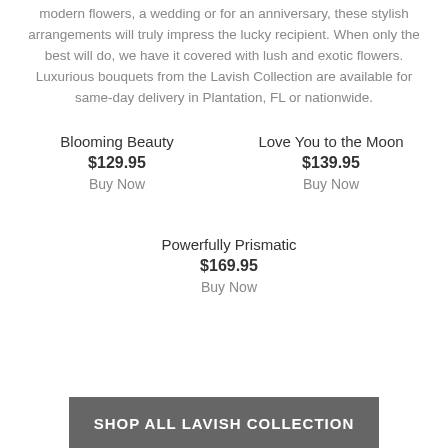modern flowers, a wedding or for an anniversary, these stylish arrangements will truly impress the lucky recipient. When only the best will do, we have it covered with lush and exotic flowers. Luxurious bouquets from the Lavish Collection are available for same-day delivery in Plantation, FL or nationwide.
Blooming Beauty
$129.95
Buy Now
Love You to the Moon
$139.95
Buy Now
Powerfully Prismatic
$169.95
Buy Now
SHOP ALL LAVISH COLLECTION